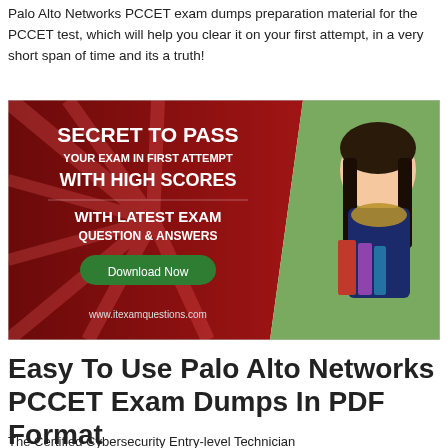Palo Alto Networks PCCET exam dumps preparation material for the PCCET test, which will help you clear it on your first attempt, in a very short span of time and its a truth!
[Figure (illustration): Promotional banner ad showing a smiling student holding books on the right side against a dark red/maroon background on the left. Text reads: SECRET TO PASS YOUR EXAM IN FIRST ATTEMPT WITH HIGH SCORES WITH LATEST EXAM QUESTION & ANSWERS. A green button reads 'Download Now'. URL www.itexamquestions.com shown at bottom.]
Easy To Use Palo Alto Networks PCCET Exam Dumps In PDF Format
The Certified Cybersecurity Entry-level Technician